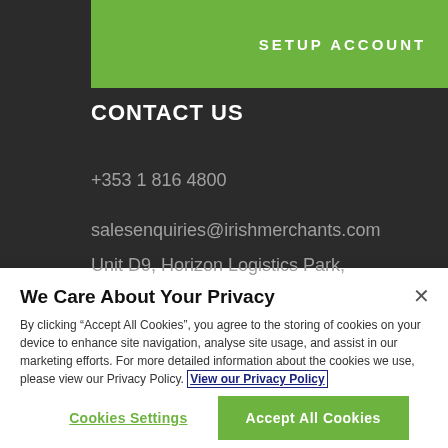[Figure (screenshot): Green 'SETUP ACCOUNT' button on dark background]
CONTACT US
+353 1 816 4800
salesenquiries@irishmerchants.com
Unit D9, Horizon Logistics Park,
We Care About Your Privacy
By clicking "Accept All Cookies", you agree to the storing of cookies on your device to enhance site navigation, analyse site usage, and assist in our marketing efforts. For more detailed information about the cookies we use, please view our Privacy Policy. View our Privacy Policy
Cookies Settings
Accept All Cookies